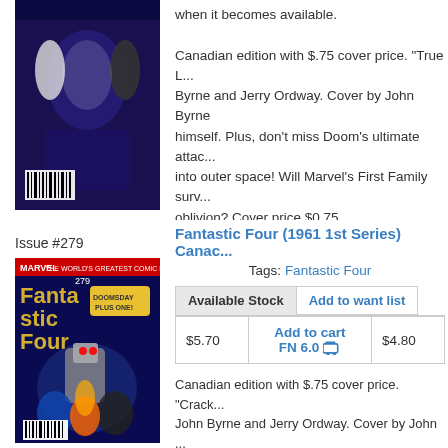when it becomes available.
Canadian edition with $.75 cover price. "True L... Byrne and Jerry Ordway. Cover by John Byrne himself. Plus, don't miss Doom's ultimate attac... into outer space! Will Marvel's First Family surv... oblivion? Cover price $0.75.
[Figure (photo): Comic book cover - Fantastic Four, dark space themed cover]
Issue #279
Fantastic Four (1961 1st Series) Canac...
Tags: Fantastic Four
|  | Add to cart |  |
| --- | --- | --- |
| $5.70 | Add to cart FN 6.0 [cart icon] | $4.80 |
Canadian edition with $.75 cover price. "Crack... John Byrne and Jerry Ordway. Cover by John ... into outer space and destroyed the Fantastic F... if the FF can somehow survive this devastating... $0.75.